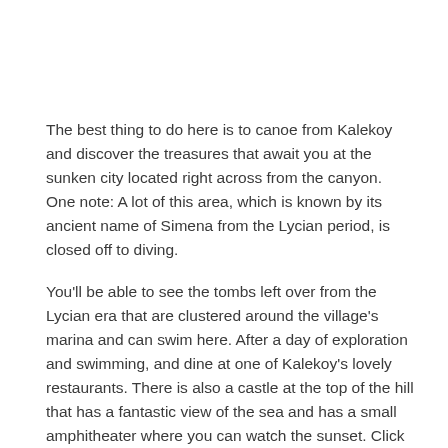The best thing to do here is to canoe from Kalekoy and discover the treasures that await you at the sunken city located right across from the canyon. One note: A lot of this area, which is known by its ancient name of Simena from the Lycian period, is closed off to diving.
You'll be able to see the tombs left over from the Lycian era that are clustered around the village's marina and can swim here. After a day of exploration and swimming, and dine at one of Kalekoy's lovely restaurants. There is also a castle at the top of the hill that has a fantastic view of the sea and has a small amphitheater where you can watch the sunset. Click here for the location. Number 8 on the map.